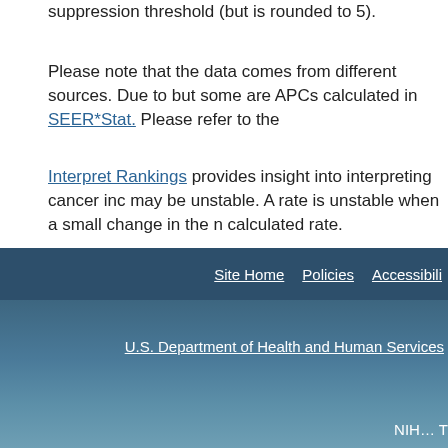suppression threshold (but is rounded to 5).
Please note that the data comes from different sources. Due to but some are APCs calculated in SEER*Stat. Please refer to the
Interpret Rankings provides insight into interpreting cancer inc may be unstable. A rate is unstable when a small change in the n calculated rate.
Data for United States does not include Puerto Rico.
When displaying county information, the CI*Rank for the state statistics at the US By State level.
Site Home | Policies | Accessibili
U.S. Department of Health and Human Services
NIH... T